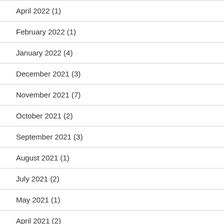April 2022 (1)
February 2022 (1)
January 2022 (4)
December 2021 (3)
November 2021 (7)
October 2021 (2)
September 2021 (3)
August 2021 (1)
July 2021 (2)
May 2021 (1)
April 2021 (2)